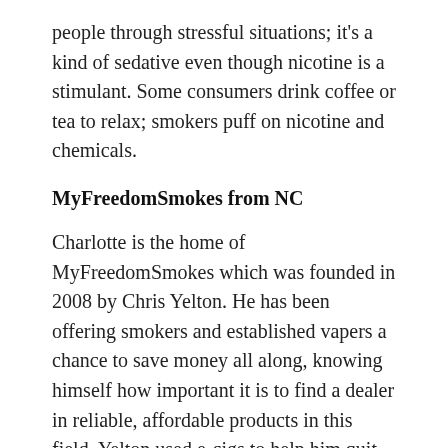people through stressful situations; it's a kind of sedative even though nicotine is a stimulant. Some consumers drink coffee or tea to relax; smokers puff on nicotine and chemicals.
MyFreedomSmokes from NC
Charlotte is the home of MyFreedomSmokes which was founded in 2008 by Chris Yelton. He has been offering smokers and established vapers a chance to save money all along, knowing himself how important it is to find a dealer in reliable, affordable products in this field. Yelton used e-cigs to help him quit smoking too, but not until he had conducted thorough research into the product. The